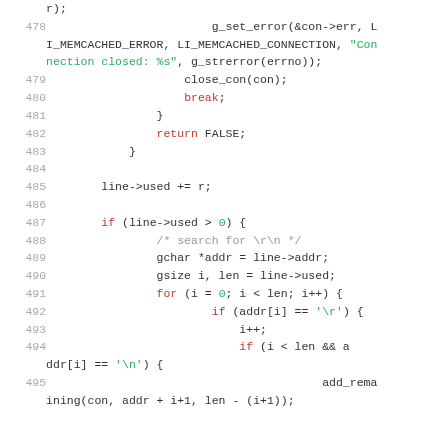Source code listing, lines 478-495, C code for memcached connection handling